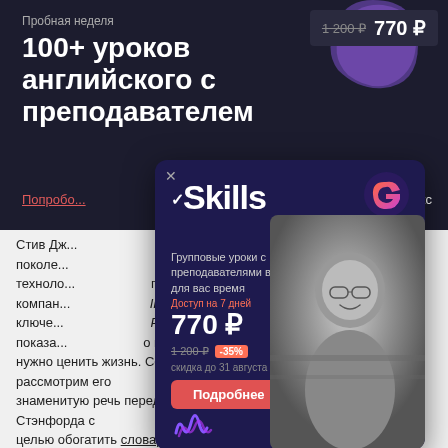Пробная неделя
100+ уроков английского с преподавателем
1 200 Р  770 Р
Попробовать
инглекс
[Figure (other): Popup advertisement card for Skills language learning platform. Shows logo 'Skills', subtitle 'Групповые уроки с преподавателями в удобное для вас время', price 770 Р (was 1200 Р, -35%), 'Доступ на 7 дней', 'скидка до 31 августа', button 'Подробнее', photo of smiling woman, decorative G icon]
Стив Дж... поколе... техноло... компан... IPod, ключе... Pixar показа... о и как нужно ценить жизнь. Сег... для мы рассмотрим его знаменитую речь перед выпускниками Стэнфорда с целью обогатить словарный запас современной лексикой.